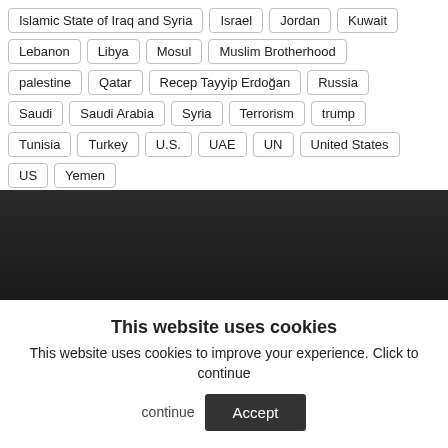Islamic State of Iraq and Syria
Israel
Jordan
Kuwait
Lebanon
Libya
Mosul
Muslim Brotherhood
palestine
Qatar
Recep Tayyip Erdoğan
Russia
Saudi
Saudi Arabia
Syria
Terrorism
trump
Tunisia
Turkey
U.S.
UAE
UN
United States
US
Yemen
[Figure (other): Dark banner background image]
This website uses cookies
This website uses cookies to improve your experience. Click to continue
Accept